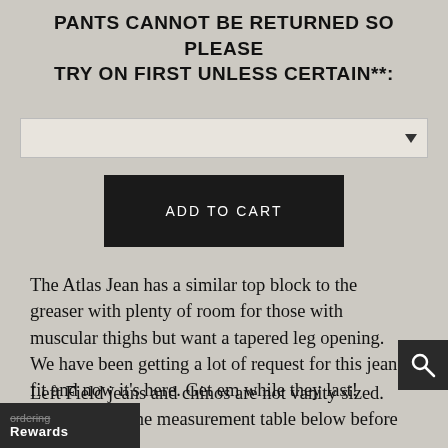PANTS CANNOT BE RETURNED SO PLEASE TRY ON FIRST UNLESS CERTAIN**:
The Atlas Jean has a similar top block to the greaser with plenty of room for those with muscular thighs but want a tapered leg opening. We have been getting a lot of request for this jean fit and now it's here. Get em while they last!
Left Field jeans and chinos are not vanity sized. Please check the measurement table below before ordering